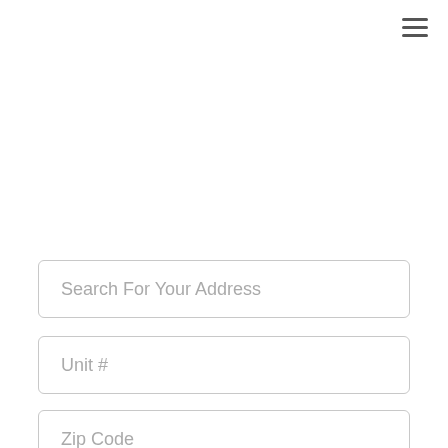[Figure (other): Hamburger menu icon (three horizontal lines) in top-right corner]
Search For Your Address
Unit #
Zip Code